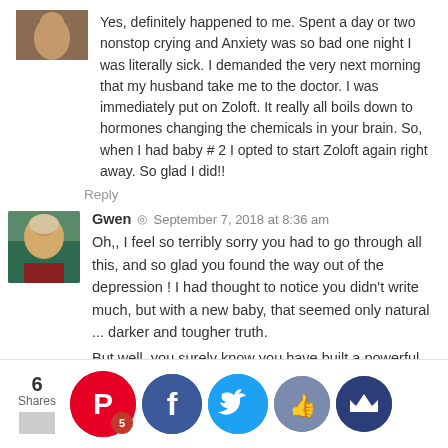Yes, definitely happened to me. Spent a day or two nonstop crying and Anxiety was so bad one night I was literally sick. I demanded the very next morning that my husband take me to the doctor. I was immediately put on Zoloft. It really all boils down to hormones changing the chemicals in your brain. So, when I had baby # 2 I opted to start Zoloft again right away. So glad I did!!
Reply
Gwen · September 7, 2018 at 8:36 am
Oh,, I feel so terribly sorry you had to go through all this, and so glad you found the way out of the depression ! I had thought to notice you didn't write much, but with a new baby, that seemed only natural ... darker and tougher truth.
But well, you surely know you have built a powerful and nice virtual community beside your real life one, and we'll be there also anytime you need us.
Take care, and keep up the good job !
Reply
[Figure (infographic): Social share bar with 6 Shares count, Pinterest button with badge 5, Facebook button, Twitter button, thumbs up button, crown/bookmark button]